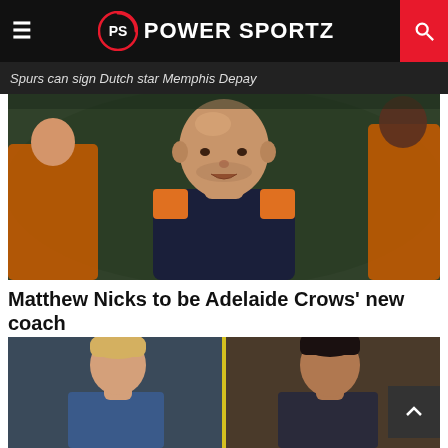POWER SPORTZ
Spurs can sign Dutch star Memphis Depay
[Figure (photo): Bald male AFL coach speaking, wearing dark navy and orange polo shirt, surrounded by players in orange guernseys in a stadium setting]
Matthew Nicks to be Adelaide Crows' new coach
[Figure (photo): Split image showing two AFL players — a blond player on the left and a dark-haired player on the right]